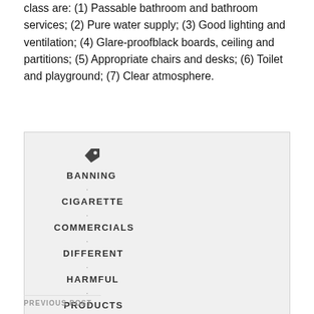class are: (1) Passable bathroom and bathroom services; (2) Pure water supply; (3) Good lighting and ventilation; (4) Glare-proofblack boards, ceiling and partitions; (5) Appropriate chairs and desks; (6) Toilet and playground; (7) Clear atmosphere.
[Figure (other): A tag/label icon followed by vertically stacked bold uppercase keywords: BANNING, CIGARETTE, COMMERCIALS, DIFFERENT, HARMFUL, PRODUCTS, each separated by a small dot, on a light gray background panel.]
PREVIOUS POST